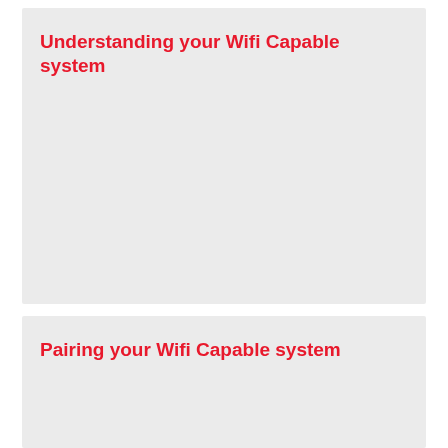Understanding your Wifi Capable system
Pairing your Wifi Capable system